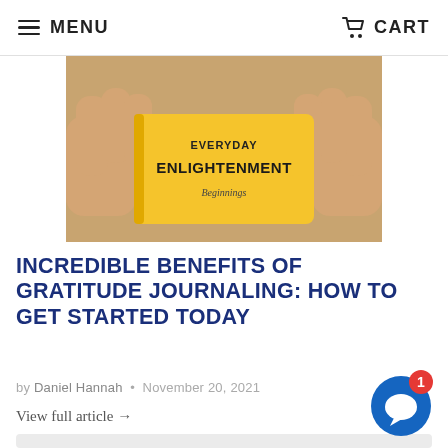MENU   CART
[Figure (photo): Hands holding a yellow book/journal with text 'Everyday Enlightenment Beginnings' written on it]
INCREDIBLE BENEFITS OF GRATITUDE JOURNALING: HOW TO GET STARTED TODAY
by Daniel Hannah • November 20, 2021
View full article →
[Figure (photo): Partially visible article thumbnail image, light gray background]
[Figure (other): Blue chat widget button with red notification badge showing '1']